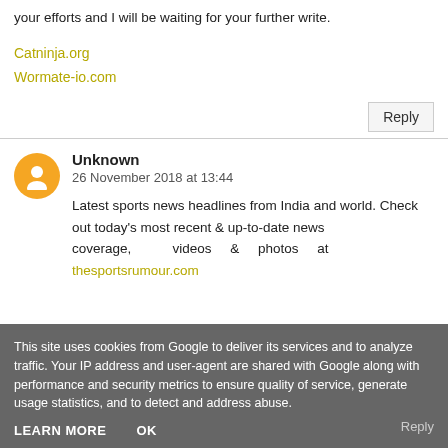your efforts and I will be waiting for your further write.
Catninja.org
Wormate-io.com
Reply
Unknown
26 November 2018 at 13:44
Latest sports news headlines from India and world. Check out today's most recent & up-to-date news coverage, videos & photos at thesportsrumour.com
This site uses cookies from Google to deliver its services and to analyze traffic. Your IP address and user-agent are shared with Google along with performance and security metrics to ensure quality of service, generate usage statistics, and to detect and address abuse.
LEARN MORE   OK
Reply